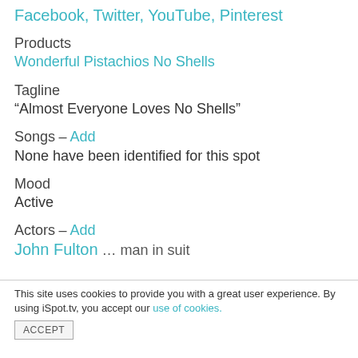Facebook, Twitter, YouTube, Pinterest
Products
Wonderful Pistachios No Shells
Tagline
“Almost Everyone Loves No Shells”
Songs – Add
None have been identified for this spot
Mood
Active
Actors – Add
John Fulton … man in suit
This site uses cookies to provide you with a great user experience. By using iSpot.tv, you accept our use of cookies.